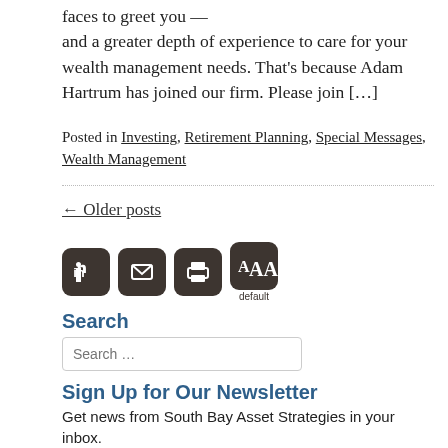faces to greet you — and a greater depth of experience to care for your wealth management needs. That's because Adam Hartrum has joined our firm. Please join […]
Posted in Investing, Retirement Planning, Special Messages, Wealth Management
← Older posts
[Figure (other): Social sharing and text size icons: LinkedIn, email, print, and AAA default text size buttons]
Search
Search …
Sign Up for Our Newsletter
Get news from South Bay Asset Strategies in your inbox.